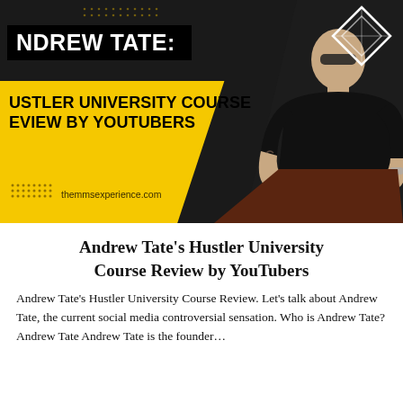[Figure (illustration): Promotional banner with yellow and black background. Text reads 'ANDREW TATE:' in white on black bar, then 'HUSTLER UNIVERSITY COURSE REVIEW BY YOUTUBERS' in black bold text. A bald muscular man in a black t-shirt is shown on the right. URL 'themmsexperience.com' at the bottom left. Diamond/geometric shape in top right corner.]
Andrew Tate's Hustler University Course Review by YouTubers
Andrew Tate's Hustler University Course Review. Let's talk about Andrew Tate, the current social media controversial sensation. Who is Andrew Tate? Andrew Tate Andrew Tate is the founder…